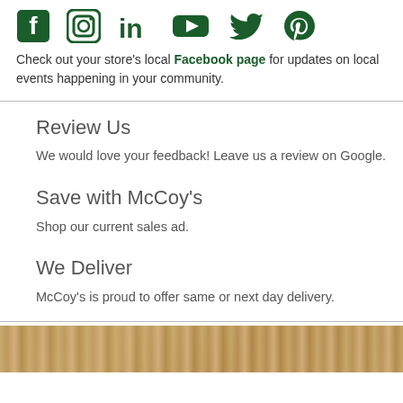[Figure (illustration): Row of dark green social media icons: Facebook, Instagram, LinkedIn, YouTube, Twitter, Pinterest]
Check out your store's local Facebook page for updates on local events happening in your community.
Review Us
We would love your feedback! Leave us a review on Google.
Save with McCoy's
Shop our current sales ad.
We Deliver
McCoy's is proud to offer same or next day delivery.
[Figure (photo): Partial photo of wood/lumber products at the bottom of the page]